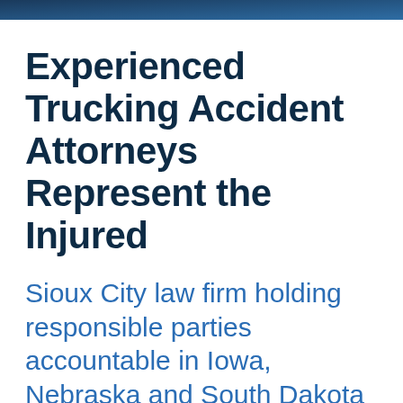Experienced Trucking Accident Attorneys Represent the Injured
Sioux City law firm holding responsible parties accountable in Iowa, Nebraska and South Dakota
Representing those injured by the